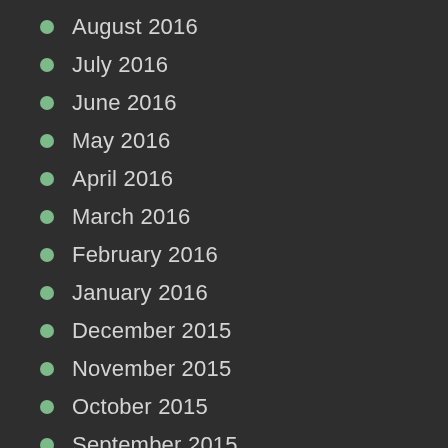August 2016
July 2016
June 2016
May 2016
April 2016
March 2016
February 2016
January 2016
December 2015
November 2015
October 2015
September 2015
Recent Posts
Webbing Caterpillars on Native Trees